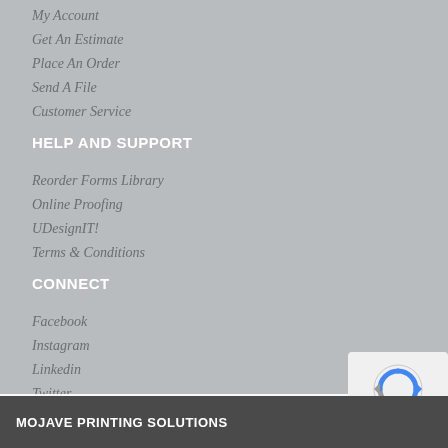My Account
Get An Estimate
Place An Order
Send A File
Customer Service
HELP AND SUPPORT
Reorder Forms Library
Online Proofing
UDesignIT!
Terms & Conditions
CONNECT
Facebook
Instagram
Linkedin
Twitter
Our Blog
MOJAVE PRINTING SOLUTIONS